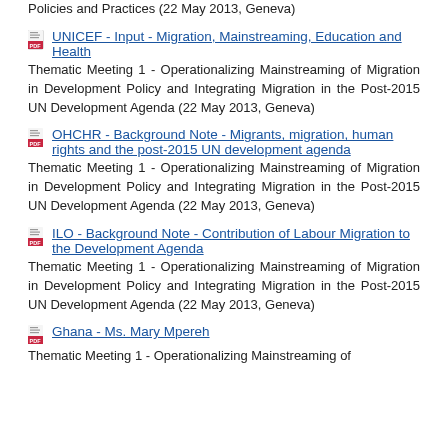Policies and Practices (22 May 2013, Geneva)
UNICEF - Input - Migration, Mainstreaming, Education and Health
Thematic Meeting 1 - Operationalizing Mainstreaming of Migration in Development Policy and Integrating Migration in the Post-2015 UN Development Agenda (22 May 2013, Geneva)
OHCHR - Background Note - Migrants, migration, human rights and the post-2015 UN development agenda
Thematic Meeting 1 - Operationalizing Mainstreaming of Migration in Development Policy and Integrating Migration in the Post-2015 UN Development Agenda (22 May 2013, Geneva)
ILO - Background Note - Contribution of Labour Migration to the Development Agenda
Thematic Meeting 1 - Operationalizing Mainstreaming of Migration in Development Policy and Integrating Migration in the Post-2015 UN Development Agenda (22 May 2013, Geneva)
Ghana - Ms. Mary Mpereh
Thematic Meeting 1 - Operationalizing Mainstreaming of